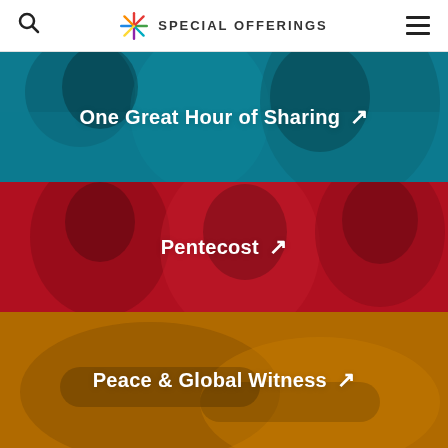SPECIAL OFFERINGS
[Figure (illustration): Teal/cyan colored banner with smiling person, link to One Great Hour of Sharing]
One Great Hour of Sharing ↗
[Figure (illustration): Red colored banner with laughing young people, link to Pentecost]
Pentecost ↗
[Figure (illustration): Orange/amber colored banner with hands clasped, link to Peace & Global Witness]
Peace & Global Witness ↗
[Figure (illustration): Purple colored banner at bottom (partially visible)]